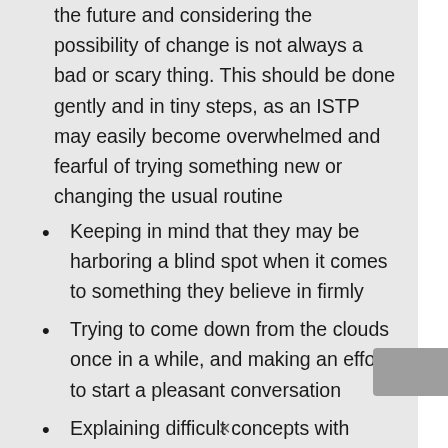the future and considering the possibility of change is not always a bad or scary thing. This should be done gently and in tiny steps, as an ISTP may easily become overwhelmed and fearful of trying something new or changing the usual routine
Keeping in mind that they may be harboring a blind spot when it comes to something they believe in firmly
Trying to come down from the clouds once in a while, and making an effort to start a pleasant conversation
Explaining difficult concepts with simpler and concise words when possible